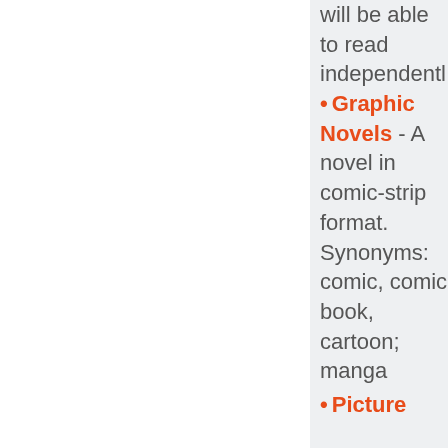will be able to read independently
Graphic Novels - A novel in comic-strip format. Synonyms: comic, comic book, cartoon; manga
Picture ...